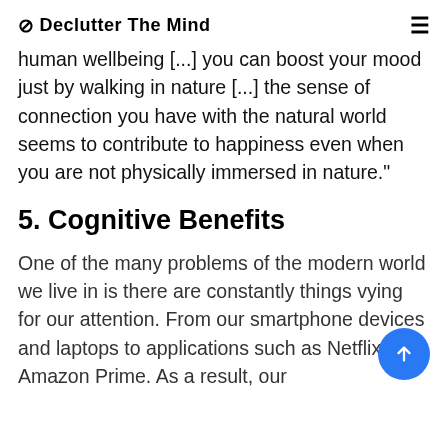⌘ Declutter The Mind
human wellbeing [...] you can boost your mood just by walking in nature [...] the sense of connection you have with the natural world seems to contribute to happiness even when you are not physically immersed in nature."
5. Cognitive Benefits
One of the many problems of the modern world we live in is there are constantly things vying for our attention. From our smartphone devices and laptops to applications such as Netflix and Amazon Prime. As a result, our